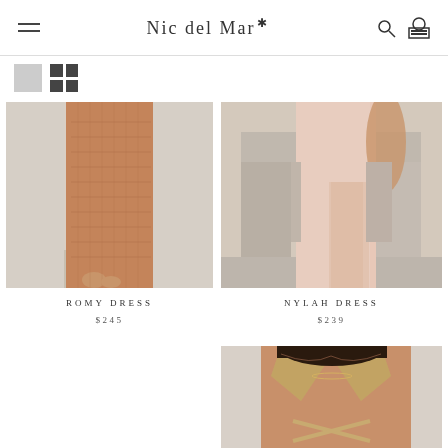Nic del Mar — navigation header with logo, hamburger menu, search and cart icons
[Figure (screenshot): View toggle buttons: single column and grid view icons]
[Figure (photo): Romy Dress product photo: close-up of a model's legs wearing a knit crochet maxi dress in terracotta/rust color, against a white stucco wall]
ROMY DRESS
$245
[Figure (photo): Nylah Dress product photo: model wearing a blush/nude colored dress with a high slit, standing in a mediterranean-style setting]
NYLAH DRESS
$239
[Figure (photo): Third product photo: close-up of a model wearing a gold/nude metallic knit bikini top with a deep V-neck and cutout detail at midriff, with criss-cross lace-up detail]